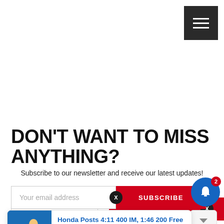[Figure (other): Hamburger menu icon button (dark background, three white horizontal lines)]
DON'T WANT TO MISS ANYTHING?
Subscribe to our newsletter and receive our latest updates!
[Figure (other): Email address input field with placeholder 'Your email address', a red SUBSCRIBE button with an X circle overlay, and a blue notification bell icon with red badge showing '2']
[Figure (other): Notification popup card with swimming athlete photo thumbnail, title 'Honda Posts 4:11 400 IM, 1:46 200 Free To', timestamp '4 hours ago']
This website uses cookies to ensure you get the best experience on our website.